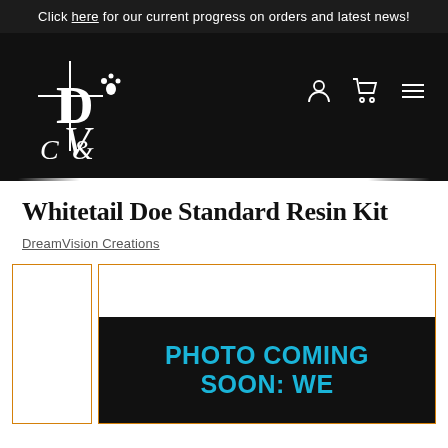Click here for our current progress on orders and latest news!
[Figure (logo): DreamVision Creations logo — stylized D, V, C letters with a cross and paw print, white on black background]
Whitetail Doe Standard Resin Kit
DreamVision Creations
[Figure (photo): Product image placeholder with black background and cyan text reading 'PHOTO COMING SOON: WE']